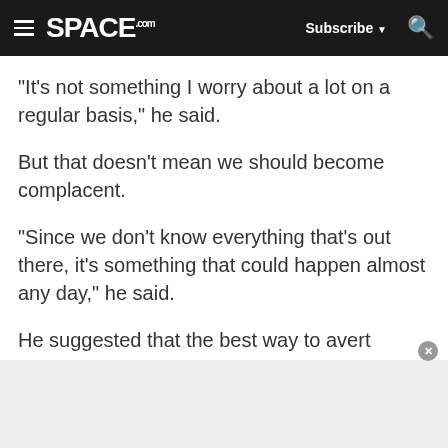SPACE.com | Subscribe | Search
"It's not something I worry about a lot on a regular basis," he said.
But that doesn't mean we should become complacent.
"Since we don't know everything that's out there, it's something that could happen almost any day," he said.
He suggested that the best way to avert disaster is to improve the ability to identify potentially hazardous